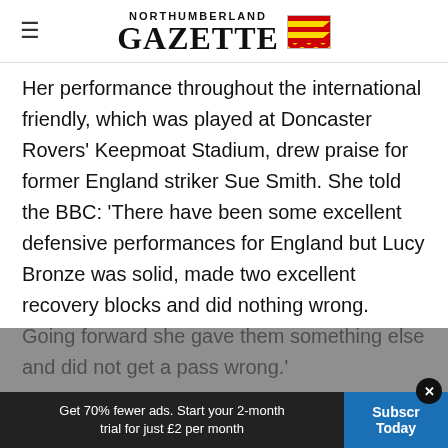NORTHUMBERLAND GAZETTE
Her performance throughout the international friendly, which was played at Doncaster Rovers' Keepmoat Stadium, drew praise for former England striker Sue Smith. She told the BBC: ‘There have been some excellent defensive performances for England but Lucy Bronze was solid, made two excellent recovery blocks and did nothing wrong. Going forward she gave them something else and did not get a pass wrong.’
Get 70% fewer ads. Start your 2-month trial for just £2 per month